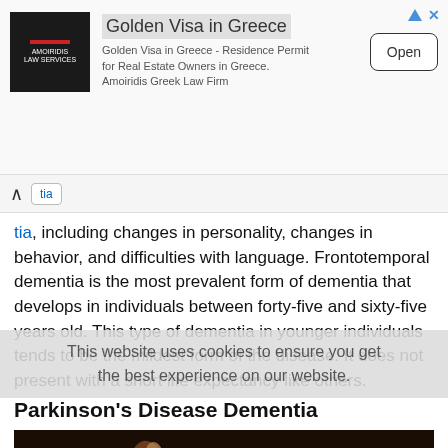[Figure (other): Advertisement banner for Golden Visa in Greece by Amoiridis Greek Law Firm with logo and Open button]
tia, including changes in personality, changes in behavior, and difficulties with language. Frontotemporal dementia is the most prevalent form of dementia that develops in individuals between forty-five and sixty-five years old. This type of dementia in younger individuals tends to be the mildest form of the disease. It does not present with a short life expectancy like others.
This website uses cookies to ensure you get the best experience on our website.
Parkinson's Disease Dementia
[Figure (photo): Close-up photograph of elderly hands, dark toned image]